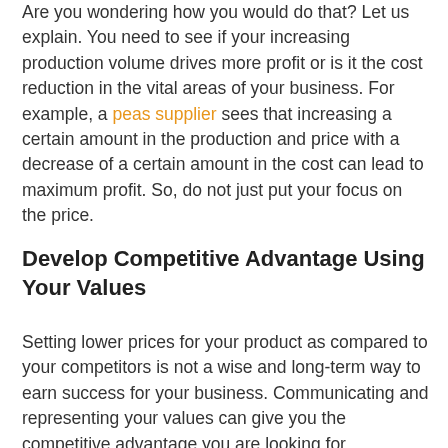Are you wondering how you would do that? Let us explain. You need to see if your increasing production volume drives more profit or is it the cost reduction in the vital areas of your business. For example, a peas supplier sees that increasing a certain amount in the production and price with a decrease of a certain amount in the cost can lead to maximum profit. So, do not just put your focus on the price.
Develop Competitive Advantage Using Your Values
Setting lower prices for your product as compared to your competitors is not a wise and long-term way to earn success for your business. Communicating and representing your values can give you the competitive advantage you are looking for.